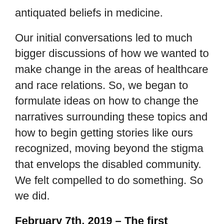antiquated beliefs in medicine.
Our initial conversations led to much bigger discussions of how we wanted to make change in the areas of healthcare and race relations. So, we began to formulate ideas on how to change the narratives surrounding these topics and how to begin getting stories like ours recognized, moving beyond the stigma that envelops the disabled community. We felt compelled to do something. So we did.
February 7th, 2019 – The first Disabled People of Color Day
We name our mini-movement Disabled People of Color Day and encouraged people to post on social media using #DisabledPOCDay. We asked